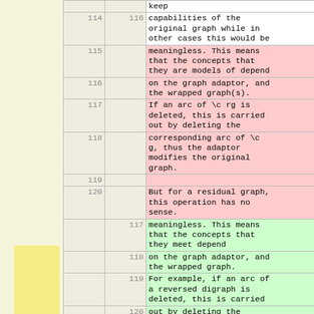| line1 | line2 | text |
| --- | --- | --- |
|  |  | keep |
| 114 | 116 | capabilities of the original graph while in other cases this would be |
| 115 |  | meaningless. This means that the concepts that they are models of depend |
| 116 |  | on the graph adaptor, and the wrapped graph(s). |
| 117 |  | If an arc of \c rg is deleted, this is carried out by deleting the |
| 118 |  | corresponding arc of \c g, thus the adaptor modifies the original graph. |
| 119 |  |  |
| 120 |  | But for a residual graph, this operation has no sense. |
|  | 117 | meaningless. This means that the concepts that they meet depend |
|  | 118 | on the graph adaptor, and the wrapped graph. |
|  | 119 | For example, if an arc of a reversed digraph is deleted, this is carried |
|  | 120 | out by deleting the corresponding arc of the original digraph, thus the |
|  | 121 | adaptor modifies the original digraph. |
|  | 122 | However in case of a residual digraph, this |